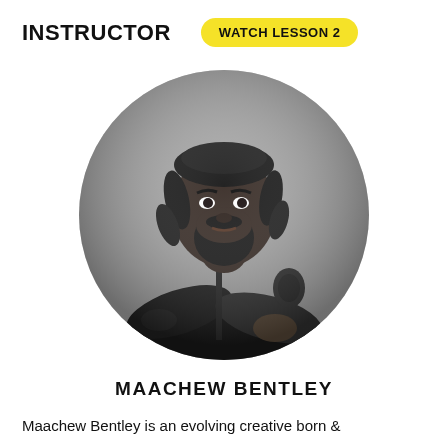INSTRUCTOR
WATCH LESSON 2
[Figure (photo): Black and white circular portrait photo of Maachew Bentley, a man with locs/braids, a beard, wearing a black bomber jacket with arms crossed, against a grey background.]
MAACHEW BENTLEY
Maachew Bentley is an evolving creative born &